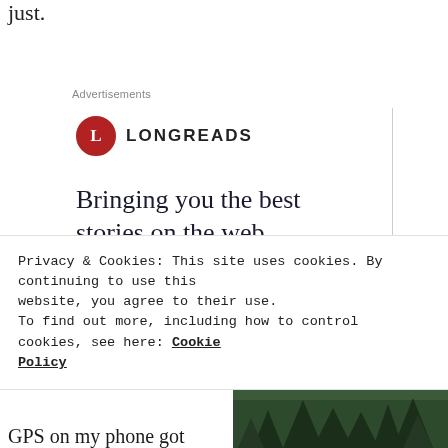just.
Advertisements
[Figure (logo): Longreads logo: red circle with white L, followed by LONGREADS text in bold caps]
Bringing you the best stories on the web since 2009.
Start reading
Privacy & Cookies: This site uses cookies. By continuing to use this website, you agree to their use.
To find out more, including how to control cookies, see here: Cookie Policy
Close and accept
GPS on my phone got